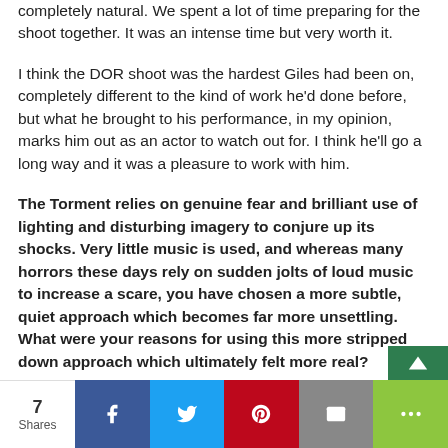completely natural. We spent a lot of time preparing for the shoot together. It was an intense time but very worth it.
I think the DOR shoot was the hardest Giles had been on, completely different to the kind of work he'd done before, but what he brought to his performance, in my opinion, marks him out as an actor to watch out for. I think he'll go a long way and it was a pleasure to work with him.
The Torment relies on genuine fear and brilliant use of lighting and disturbing imagery to conjure up its shocks. Very little music is used, and whereas many horrors these days rely on sudden jolts of loud music to increase a scare, you have chosen a more subtle, quiet approach which becomes far more unsettling. What were your reasons for using this more stripped down approach which ultimately felt more real?
"I'm about to use a phrase that my friends rightly teas...
7 Shares  [Facebook] [Twitter] [Pinterest] [Email] [Share]